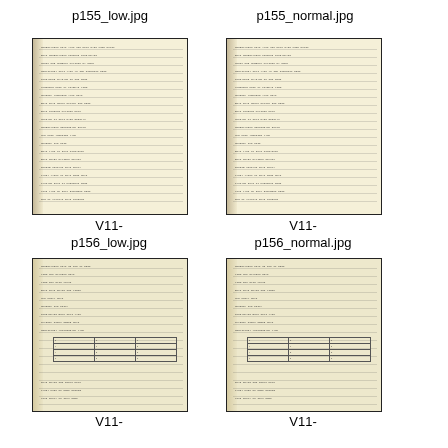p155_low.jpg
p155_normal.jpg
[Figure (photo): Thumbnail of a handwritten notebook page, low quality version, labeled V11-p156_low.jpg]
V11-
p156_low.jpg
[Figure (photo): Thumbnail of a handwritten notebook page, normal quality version, labeled V11-p156_normal.jpg]
V11-
p156_normal.jpg
[Figure (photo): Thumbnail of a handwritten notebook page with table, low quality version, labeled V11-]
V11-
[Figure (photo): Thumbnail of a handwritten notebook page with table, normal quality version, labeled V11-]
V11-